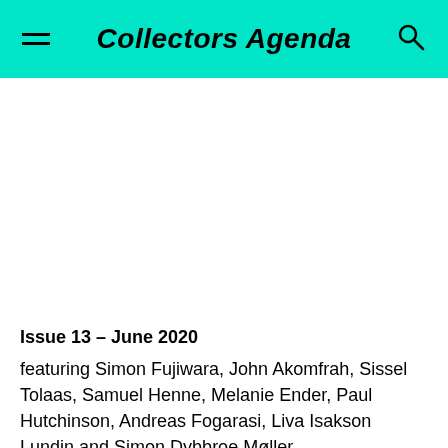Collectors Agenda
Issue 13 – June 2020
featuring Simon Fujiwara, John Akomfrah, Sissel Tolaas, Samuel Henne, Melanie Ender, Paul Hutchinson, Andreas Fogarasi, Liva Isakson Lundin and Simon Dybbroe Møller